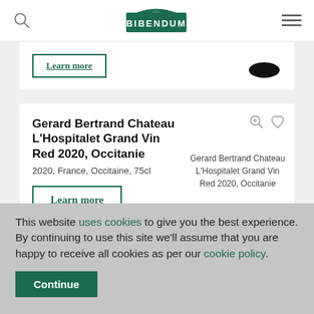BIBENDUM
[Figure (screenshot): Partially visible product card with 'Learn more' button and wine glass icon]
Gerard Bertrand Chateau L'Hospitalet Grand Vin Red 2020, Occitanie
2020, France, Occitaine, 75cl
Learn more
[Figure (photo): Gerard Bertrand Chateau L'Hospitalet Grand Vin Red 2020, Occitanie product image]
This website uses cookies to give you the best experience. By continuing to use this site we'll assume that you are happy to receive all cookies as per our cookie policy.
Continue